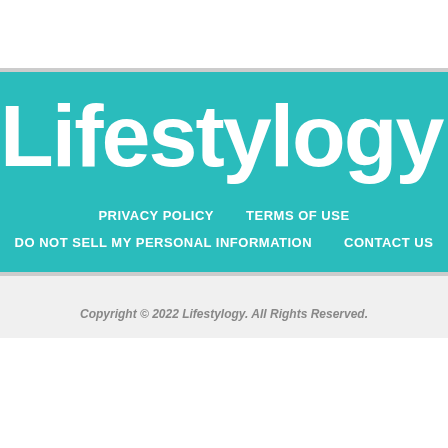Lifestylogy
PRIVACY POLICY
TERMS OF USE
DO NOT SELL MY PERSONAL INFORMATION
CONTACT US
Copyright © 2022 Lifestylogy. All Rights Reserved.